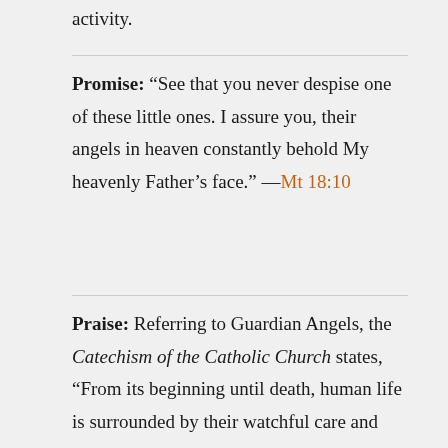activity.
Promise: “See that you never despise one of these little ones. I assure you, their angels in heaven constantly behold My heavenly Father’s face.” —Mt 18:10
Praise: Referring to Guardian Angels, the Catechism of the Catholic Church states, “From its beginning until death, human life is surrounded by their watchful care and intercession” (Catechism, 336). They not only protect